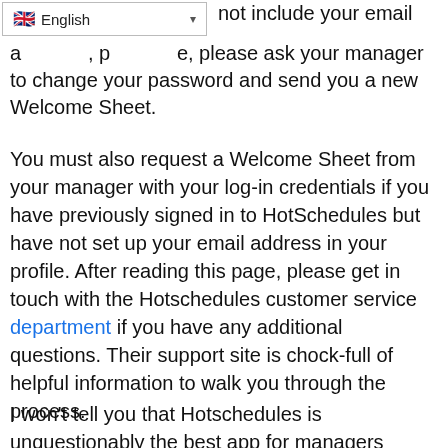[Figure (screenshot): English language selector dropdown widget with UK flag icon and dropdown arrow]
not include your email address, please ask your manager to change your password and send you a new Welcome Sheet.
You must also request a Welcome Sheet from your manager with your log-in credentials if you have previously signed in to HotSchedules but have not set up your email address in your profile. After reading this page, please get in touch with the Hotschedules customer service department if you have any additional questions. Their support site is chock-full of helpful information to walk you through the process.
I won't tell you that Hotschedules is unquestionably the best app for managers